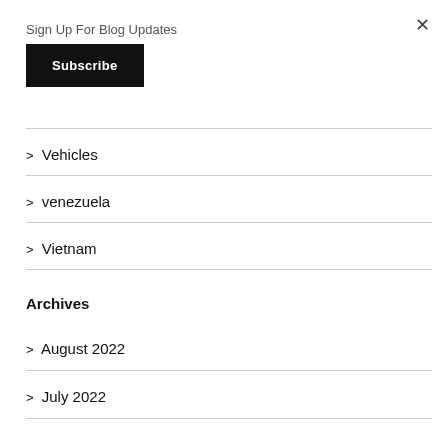Sign Up For Blog Updates
Subscribe
> Vehicles
> venezuela
> Vietnam
Archives
> August 2022
> July 2022